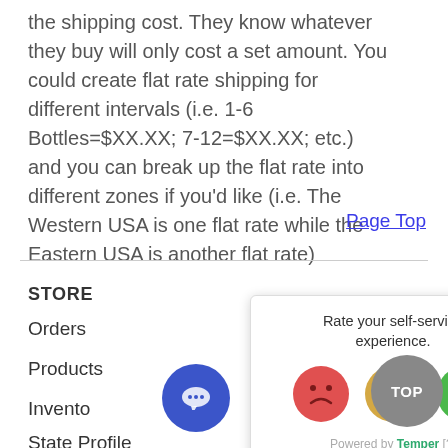the shipping cost. They know whatever they buy will only cost a set amount. You could create flat rate shipping for different intervals (i.e. 1-6 Bottles=$XX.XX; 7-12=$XX.XX; etc.) and you can break up the flat rate into different zones if you'd like (i.e. The Western USA is one flat rate while the Eastern USA is another flat rate)
Page Top
STORE
Orders
Products
Inventory
State Profile
[Figure (screenshot): Rate your self-service experience modal with three emoji faces (red sad, yellow neutral, green happy) and 'Powered by Temper [?]' at the bottom]